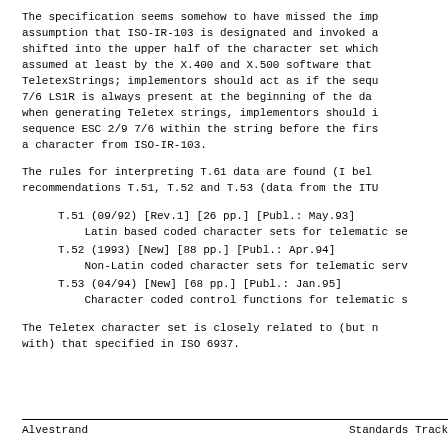The specification seems somehow to have missed the imp assumption that ISO-IR-103 is designated and invoked a shifted into the upper half of the character set which assumed at least by the X.400 and X.500 software that TeletexStrings; implementors should act as if the sequ 7/6 LS1R is always present at the beginning of the da when generating Teletex strings, implementors should sequence ESC 2/9 7/6 within the string before the firs a character from ISO-IR-103.
The rules for interpreting T.61 data are found (I bel recommendations T.51, T.52 and T.53 (data from the IT
T.51 (09/92) [Rev.1] [26 pp.] [Publ.: May.93]
    Latin based coded character sets for telematic se
T.52 (1993) [New] [88 pp.] [Publ.: Apr.94]
    Non-Latin coded character sets for telematic serv
T.53 (04/94) [New] [68 pp.] [Publ.: Jan.95]
    Character coded control functions for telematic s
The Teletex character set is closely related to (but n with) that specified in ISO 6937.
Alvestrand                      Standards Track